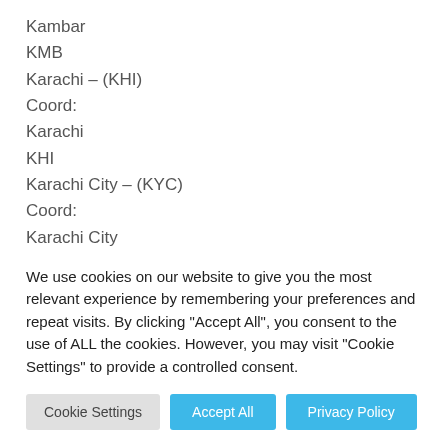Kambar
KMB
Karachi – (KHI)
Coord:
Karachi
KHI
Karachi City – (KYC)
Coord:
Karachi City
KYC
Karachi Container
We use cookies on our website to give you the most relevant experience by remembering your preferences and repeat visits. By clicking "Accept All", you consent to the use of ALL the cookies. However, you may visit "Cookie Settings" to provide a controlled consent.